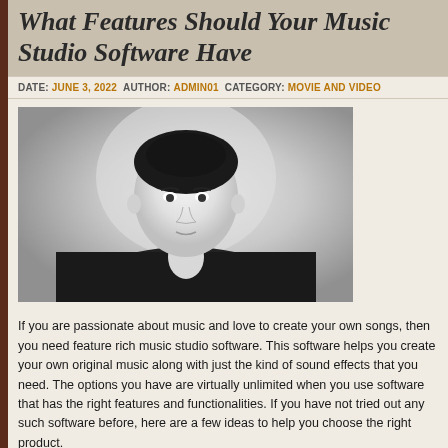What Features Should Your Music Studio Software Have
DATE: JUNE 3, 2022  AUTHOR: ADMIN01  CATEGORY: MOVIE AND VIDEO
[Figure (photo): Black and white portrait photo of a young woman with dark hair pulled back, wearing a dark blazer, looking slightly to the side with a neutral expression. Background is a light grey gradient.]
If you are passionate about music and love to create your own songs, then you need feature rich music studio software. This software helps you create your own original music along with just the kind of sound effects that you need. The options you have are virtually unlimited when you use software that has the right features and functionalities. If you have not tried out any such software before, here are a few ideas to help you choose the right product.
Tutorials to Help Beginners